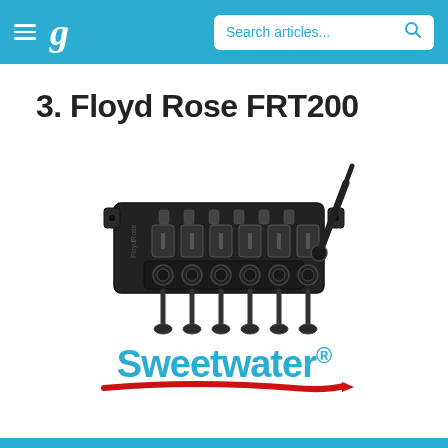g  Search articles...
3. Floyd Rose FRT200
[Figure (photo): Black Floyd Rose FRT200 tremolo bridge with tuning block and whammy bar arm, top-down angle view showing six saddles, string locks, and mounting holes]
[Figure (logo): Sweetwater logo with blue bold text and red swoosh underline, with registered trademark symbol]